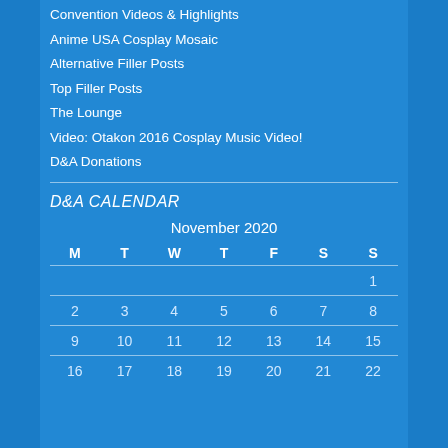Convention Videos & Highlights
Anime USA Cosplay Mosaic
Alternative Filler Posts
Top Filler Posts
The Lounge
Video: Otakon 2016 Cosplay Music Video!
D&A Donations
D&A CALENDAR
| M | T | W | T | F | S | S |
| --- | --- | --- | --- | --- | --- | --- |
|  |  |  |  |  |  | 1 |
| 2 | 3 | 4 | 5 | 6 | 7 | 8 |
| 9 | 10 | 11 | 12 | 13 | 14 | 15 |
| 16 | 17 | 18 | 19 | 20 | 21 | 22 |